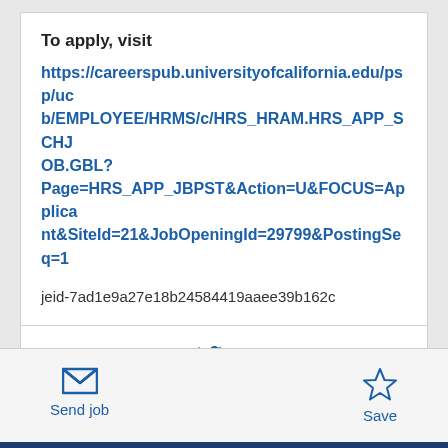To apply, visit
https://careerspub.universityofcalifornia.edu/psp/ucb/EMPLOYEE/HRMS/c/HRS_HRAM.HRS_APP_SCHJOB.GBL?Page=HRS_APP_JBPST&Action=U&FOCUS=Applicant&SiteId=21&JobOpeningId=29799&PostingSeq=1
jeid-7ad1e9a27e18b24584419aaee39b162c
Share this job
Send job
Save